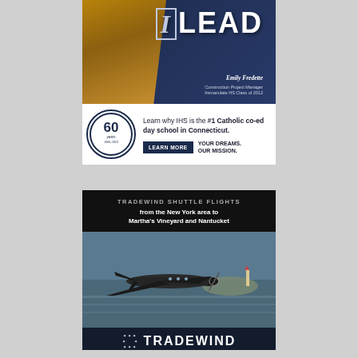[Figure (illustration): IHS advertisement showing a young woman in construction gear with hard hat, dark navy background with large 'I LEAD' text, name Emily Fredette, Construction Project Manager, Immaculate HS Class of 2012]
Learn why IHS is the #1 Catholic co-ed day school in Connecticut.
LEARN MORE   YOUR DREAMS. OUR MISSION.
[Figure (illustration): Tradewind Aviation advertisement showing a small aircraft flying over water near Martha's Vineyard/Nantucket, with text: TRADEWIND SHUTTLE FLIGHTS from the New York area to Martha's Vineyard and Nantucket, Tradewind logo with stars]
TRADEWIND SHUTTLE FLIGHTS from the New York area to Martha's Vineyard and Nantucket
TRADEWIND